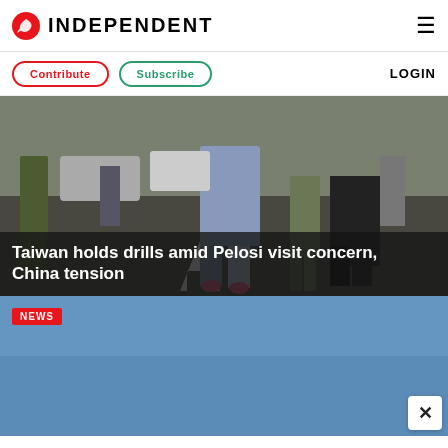INDEPENDENT
Contribute  Subscribe  LOGIN
[Figure (photo): Street scene with people walking and military/police personnel, arrows on asphalt road, daytime.]
Taiwan holds drills amid Pelosi visit concern, China tension
[Figure (photo): Blue sky photograph with NEWS badge label in red. Close (X) button overlay in bottom right corner.]